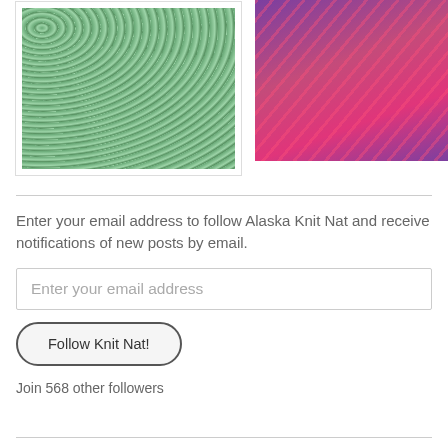[Figure (photo): Close-up photo of green knitted or crocheted fabric with fan/leaf stitch pattern]
[Figure (photo): Photo of a colorful red, pink and purple patterned fabric hobo bag hanging on a wall hook]
Enter your email address to follow Alaska Knit Nat and receive notifications of new posts by email.
Enter your email address
Follow Knit Nat!
Join 568 other followers